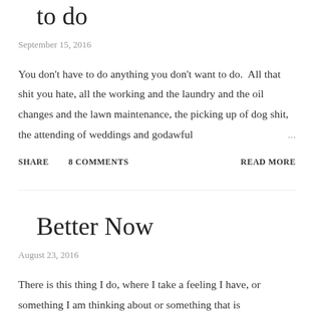to do
September 15, 2016
You don't have to do anything you don't want to do.  All that shit you hate, all the working and the laundry and the oil changes and the lawn maintenance, the picking up of dog shit, the attending of weddings and godawful ...
SHARE   8 COMMENTS   READ MORE
Better Now
August 23, 2016
There is this thing I do, where I take a feeling I have, or something I am thinking about or something that is